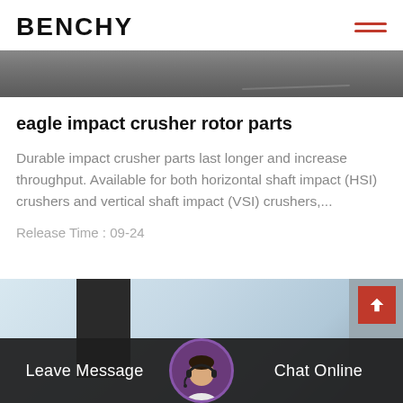BENCHY
[Figure (photo): Horizontal dark gray metal bar or steel plate, photographed on a white background]
eagle impact crusher rotor parts
Durable impact crusher parts last longer and increase throughput. Available for both horizontal shaft impact (HSI) crushers and vertical shaft impact (VSI) crushers,...
Release Time : 09-24
[Figure (photo): Industrial building exterior with light blue corrugated metal walls and a dark doorway/garage entrance on the left, and a building structure on the right]
Leave Message
Chat Online